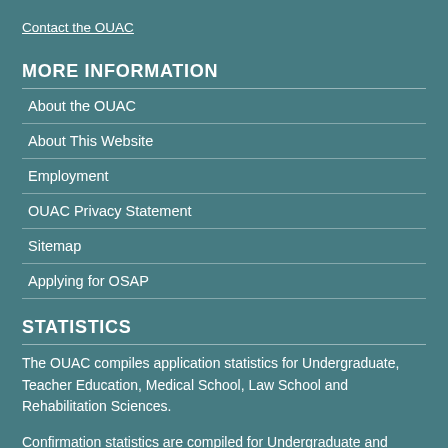Contact the OUAC
MORE INFORMATION
About the OUAC
About This Website
Employment
OUAC Privacy Statement
Sitemap
Applying for OSAP
STATISTICS
The OUAC compiles application statistics for Undergraduate, Teacher Education, Medical School, Law School and Rehabilitation Sciences.
Confirmation statistics are compiled for Undergraduate and Teacher Education.